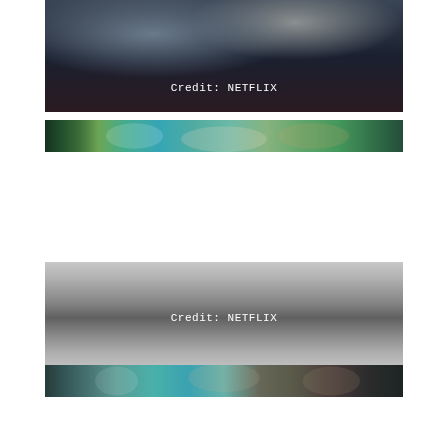[Figure (photo): Dark ballroom/hallway scene with figures, columns visible in background. Credit: NETFLIX overlay text.]
Credit: NETFLIX
[Figure (photo): Narrow horizontal strip showing people among white flowers, colorful garden scene.]
[Figure (photo): Gray gradient rectangle with Credit: NETFLIX text overlay, representing a partially loaded or faded Netflix image.]
Credit: NETFLIX
[Figure (photo): Narrow horizontal strip showing people among flowers, teal and floral scene.]